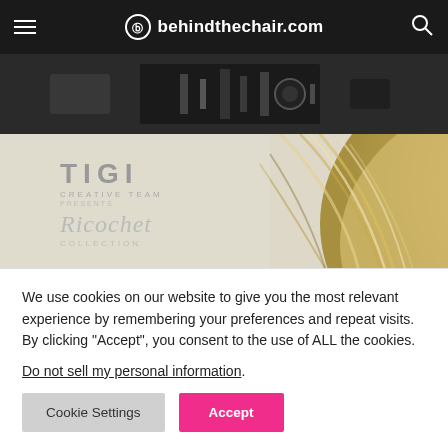behindthechair.com
[Figure (photo): Dark background image showing hair tools/accessories at the top of the page]
[Figure (photo): TIGI Creative Team presents Ricochet Collection logo overlaid on a photo of blonde highlighted hair]
We use cookies on our website to give you the most relevant experience by remembering your preferences and repeat visits. By clicking “Accept”, you consent to the use of ALL the cookies.
Do not sell my personal information.
Cookie Settings
Accept